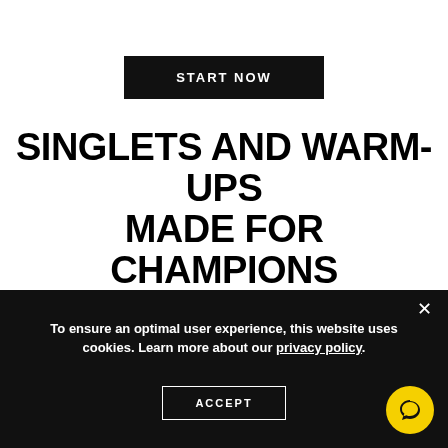START NOW
SINGLETS AND WARM-UPS MADE FOR CHAMPIONS
The Elite Series made from high-end athletic, moisture-wicking fabric, our performance wear is constructed specifically for the body of a wrestler.
To ensure an optimal user experience, this website uses cookies. Learn more about our privacy policy.
ACCEPT